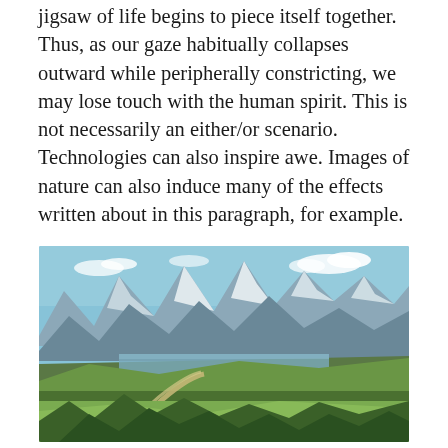jigsaw of life begins to piece itself together. Thus, as our gaze habitually collapses outward while peripherally constricting, we may lose touch with the human spirit. This is not necessarily an either/or scenario. Technologies can also inspire awe. Images of nature can also induce many of the effects written about in this paragraph, for example.
[Figure (photo): Panoramic landscape photograph showing snow-capped mountains in the background, a lake in the middle distance, green rolling fields and forests in the foreground, with a winding road. Shutterstock watermark visible.]
shutterstock.com · 726214567
This historical process has culminated in the point we have reached today, where for many